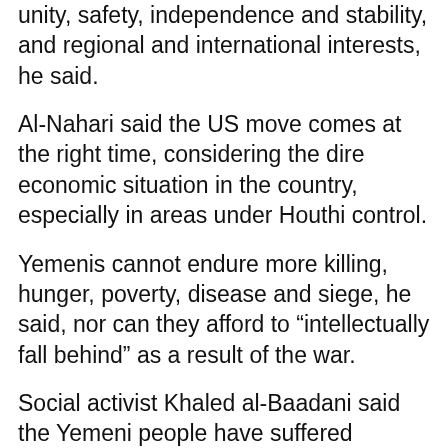unity, safety, independence and stability, and regional and international interests, he said.
Al-Nahari said the US move comes at the right time, considering the dire economic situation in the country, especially in areas under Houthi control.
Yemenis cannot endure more killing, hunger, poverty, disease and siege, he said, nor can they afford to "intellectually fall behind" as a result of the war.
Social activist Khaled al-Baadani said the Yemeni people have suffered enough, expressing his hope that a US diplomacy could make peace a reality.
The peace negotiations that took place in the